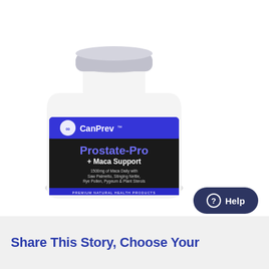[Figure (photo): CanPrev Prostate-Pro + Maca Support supplement bottle. White pill bottle with silver cap and blue/dark label. Label shows: CanPrev logo, 'Prostate-Pro + Maca Support', '1500mg of Maca Daily with Saw Palmetto, Stinging Nettle, Rye Pollen, Pygeum & Plant Sterols', 'For Urinary Symptoms Associated with BPH / Pour les symptomes urinaires relies a l'HBP', '100 vegetable capsules', 'PREMIUM NATURAL HEALTH PRODUCTS']
Help
Share This Story, Choose Your